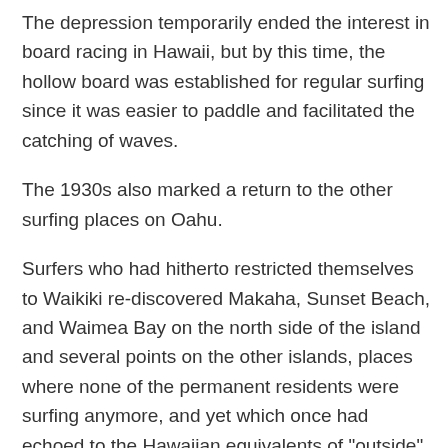The depression temporarily ended the interest in board racing in Hawaii, but by this time, the hollow board was established for regular surfing since it was easier to paddle and facilitated the catching of waves.
The 1930s also marked a return to the other surfing places on Oahu.
Surfers who had hitherto restricted themselves to Waikiki re-discovered Makaha, Sunset Beach, and Waimea Bay on the north side of the island and several points on the other islands, places where none of the permanent residents were surfing anymore, and yet which once had echoed to the Hawaiian equivalents of "outside" as the ancient Polynesians took to the surf.